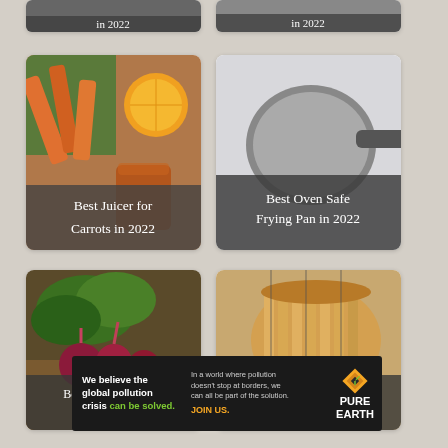[Figure (photo): Partially visible card at top left — dark image with white text overlay (cut off)]
[Figure (photo): Partially visible card at top right — dark image with white text overlay (cut off)]
[Figure (photo): Card showing carrots, orange slices, and a glass of carrot juice with text 'Best Juicer for Carrots in 2022']
Best Juicer for Carrots in 2022
[Figure (photo): Card showing a frying pan on neutral background with text 'Best Oven Safe Frying Pan in 2022']
Best Oven Safe Frying Pan in 2022
[Figure (photo): Card showing beets with leafy greens on a wooden surface with text 'Best Juicer for Beets in 2022']
Best Juicer for Beets in 2022
[Figure (photo): Card showing sliced sourdough bread with text 'Best Bread Slicer for Sourdough in 2022']
Best Bread Slicer for Sourdough in 2022
[Figure (infographic): Pure Earth advertisement banner — 'We believe the global pollution crisis can be solved.' with JOIN US call to action and Pure Earth logo]